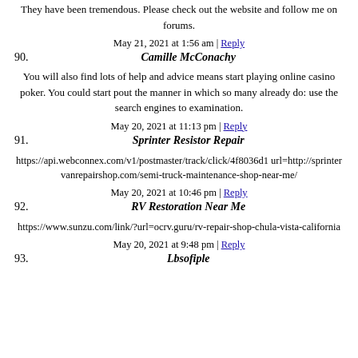They have been tremendous. Please check out the website and follow me on forums.
May 21, 2021 at 1:56 am | Reply
90. Camille McConachy
You will also find lots of help and advice means start playing online casino poker. You could start pout the manner in which so many already do: use the search engines to examination.
May 20, 2021 at 11:13 pm | Reply
91. Sprinter Resistor Repair
https://api.webconnex.com/v1/postmaster/track/click/4f8036d1 url=http://sprintervanrepairshop.com/semi-truck-maintenance-shop-near-me/
May 20, 2021 at 10:46 pm | Reply
92. RV Restoration Near Me
https://www.sunzu.com/link/?url=ocrv.guru/rv-repair-shop-chula-vista-california
May 20, 2021 at 9:48 pm | Reply
93. Lbsofiple